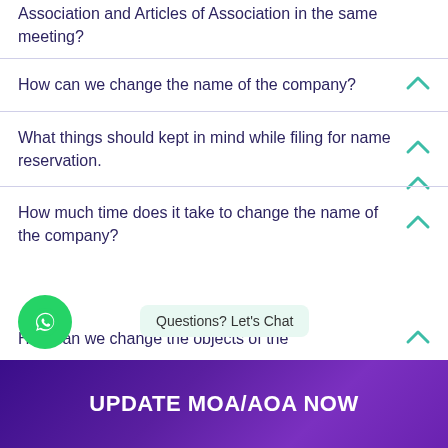Association and Articles of Association in the same meeting?
How can we change the name of the company?
What things should kept in mind while filing for name reservation.
How much time does it take to change the name of the company?
How can we change the objects of the
UPDATE MOA/AOA NOW